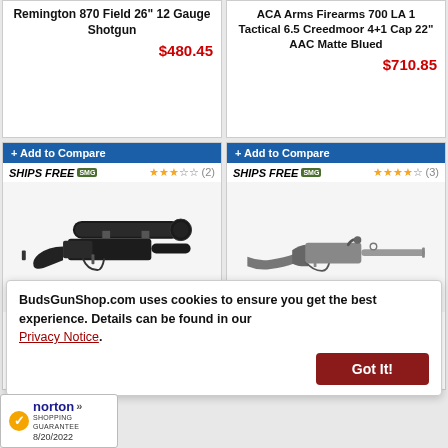Remington 870 Field 26" 12 Gauge Shotgun
$480.45
ACA Arms Firearms 700 LA 1 Tactical 6.5 Creedmoor 4+1 Cap 22" AAC Matte Blued
$710.85
+ Add to Compare
SHIPS FREE SMG ★★★☆☆ (2)
[Figure (photo): Remington ACTION 700 LA CARBON MAG firearm action with scope mount]
Remington ACTION 700 LA CARBON MAG
$518.75
+ Add to Compare
SHIPS FREE SMG ★★★☆☆ (3)
[Figure (photo): Remington 700 SPS rifle in gray/black]
Remington 700 SPS 308 Winchester/7.62 NATO Bolt Action Rifle
$639.25
BudsGunShop.com uses cookies to ensure you get the best experience. Details can be found in our Privacy Notice.
Got It!
[Figure (logo): Norton Shopping Guarantee badge with checkmark, dated 8/20/2022]